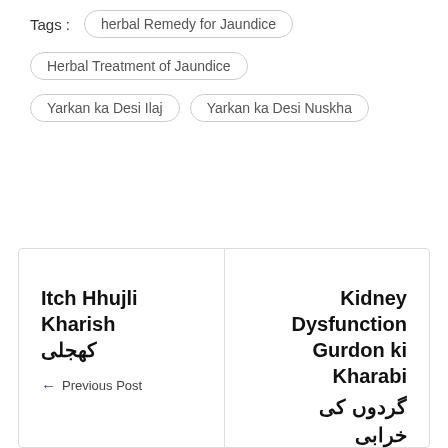Tags :
herbal Remedy for Jaundice
Herbal Treatment of Jaundice
Yarkan ka Desi Ilaj
Yarkan ka Desi Nuskha
Itch Hhujli Kharish کھجلی ← Previous Post
Kidney Dysfunction Gurdon ki Kharabi گردوں کی خرابی